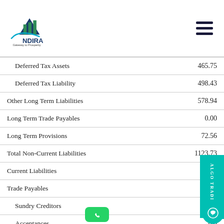INDIRA - Gateway to Prosperity
| Item | Value |
| --- | --- |
| Deferred Tax Assets | 465.75 |
| Deferred Tax Liability | 498.43 |
| Other Long Term Liabilities | 578.94 |
| Long Term Trade Payables | 0.00 |
| Long Term Provisions | 72.56 |
| Total Non-Current Liabilities | 1123.73 |
| Current Liabilities |  |
| Trade Payables | 247.5 |
| Sundry Creditors | 247.5 |
| Acceptances | 0.0 |
| Due to Subsidiaries- Payables | 0.0 |